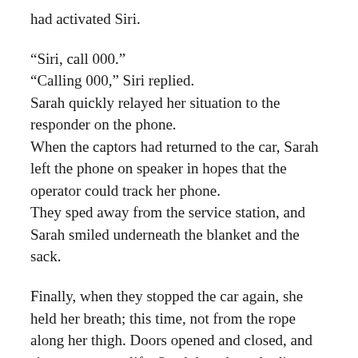p … had activated Siri.
“Siri, call 000.”
“Calling 000,” Siri replied.
Sarah quickly relayed her situation to the responder on the phone.
When the captors had returned to the car, Sarah left the phone on speaker in hopes that the operator could track her phone.
They sped away from the service station, and Sarah smiled underneath the blanket and the sack.
Finally, when they stopped the car again, she held her breath; this time, not from the rope along her thigh. Doors opened and closed, and sirens sprang to life. Sarah heard two bodies being slammed against the car, and let out a sigh.